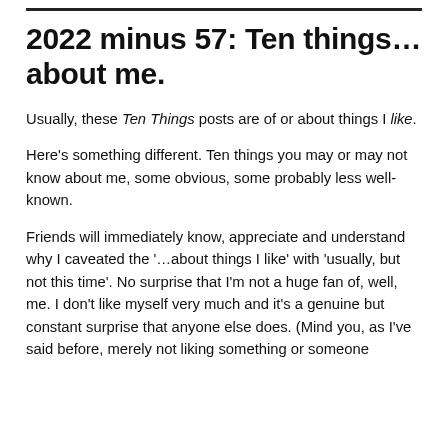2022 minus 57: Ten things… about me.
Usually, these Ten Things posts are of or about things I like.
Here's something different. Ten things you may or may not know about me, some obvious, some probably less well-known.
Friends will immediately know, appreciate and understand why I caveated the '…about things I like' with 'usually, but not this time'. No surprise that I'm not a huge fan of, well, me. I don't like myself very much and it's a genuine but constant surprise that anyone else does. (Mind you, as I've said before, merely not liking something or someone